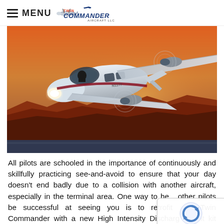MENU Twin Commander Aircraft LLC
[Figure (photo): A Twin Commander aircraft in flight at sunset/dusk, photographed from below-front angle, with red rock canyon landscape in background. Aircraft shows landing light on, twin turboprop engines visible on wings.]
All pilots are schooled in the importance of continuously and skillfully practicing see-and-avoid to ensure that your day doesn't end badly due to a collision with another aircraft, especially in the terminal area. One way to help other pilots be successful at seeing you is to retrofit your Twin Commander with a new High Intensity Discharge Light kit with pulsing technology. And, Twin Commander is